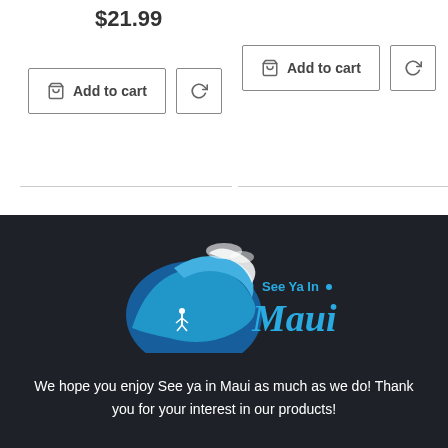$21.99
Add to cart
Add to cart
[Figure (logo): See Ya In Maui logo with a blue ocean wave and surfer silhouette, with text 'See Ya In Maui' in blue script]
We hope you enjoy See ya in Maui as much as we do! Thank you for your interest in our products!